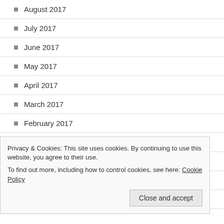August 2017
July 2017
June 2017
May 2017
April 2017
March 2017
February 2017
January 2017
December 2016
November 2016
October 2016
Privacy & Cookies: This site uses cookies. By continuing to use this website, you agree to their use. To find out more, including how to control cookies, see here: Cookie Policy